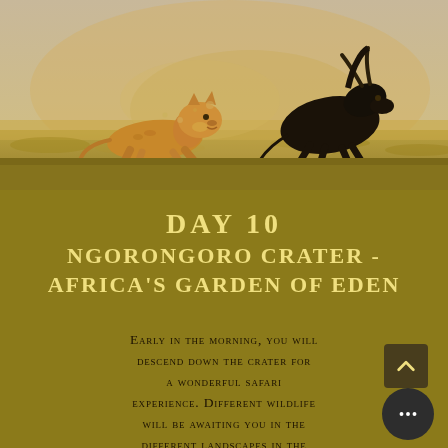[Figure (photo): Wildlife action photo: a lioness chasing a wildebeest across an African savanna grassland. Dust and motion blur visible. Brown/golden tones.]
DAY 10
NGORONGORO CRATER - AFRICA'S GARDEN OF EDEN
Early in the morning, you will descend down the crater for a wonderful safari experience. Different wildlife will be awaiting you in the different landscapes in the crater. A warm lunch in a memorable setting and enjoying the view. The crater